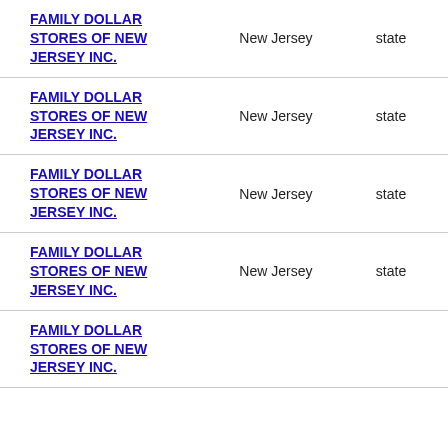| Entity | State | Type |
| --- | --- | --- |
| FAMILY DOLLAR STORES OF NEW JERSEY INC. | New Jersey | state |
| FAMILY DOLLAR STORES OF NEW JERSEY INC. | New Jersey | state |
| FAMILY DOLLAR STORES OF NEW JERSEY INC. | New Jersey | state |
| FAMILY DOLLAR STORES OF NEW JERSEY INC. | New Jersey | state |
| FAMILY DOLLAR STORES OF NEW JERSEY INC. |  |  |